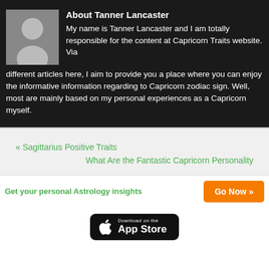[Figure (photo): Gray silhouette avatar placeholder image for author Tanner Lancaster]
About Tanner Lancaster
My name is Tanner Lancaster and I am totally responsible for the content at Capricorn Traits website. Via different articles here, I aim to provide you a place where you can enjoy the informative information regarding to Capricorn zodiac sign. Well, most are mainly based on my personal experiences as a Capricorn myself.
« Sagittarius Positive Traits
What Are the Fantastic Capricorn Personality
Get your personal Astrology insights
Go Now »
[Figure (logo): Download on the App Store badge]